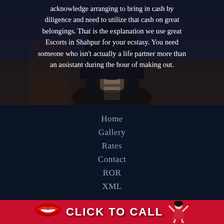acknowledge arranging to bring in cash by diligence and need to utilize that cash on great belongings. That is the explanation we use great Escorts in Shahpur for your ecstasy. You need someone who isn't actually a life partner more than an assistant during the hour of making out.
[Figure (photo): Dark photo of a woman with long dark hair wearing a black choker necklace and black fishnet clothing, partially obscured by dark overlay]
Home
Gallery
Rates
Contact
ROR
XML
[Figure (infographic): Red banner with lips emoji on left and pin-up girl illustration on right reading CLICK TO CALL in white bold text]